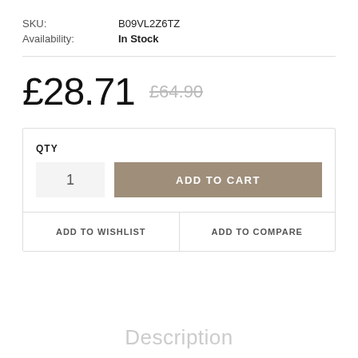SKU: B09VL2Z6TZ
Availability: In Stock
£28.71  £64.90
QTY
1
ADD TO CART
ADD TO WISHLIST
ADD TO COMPARE
Description